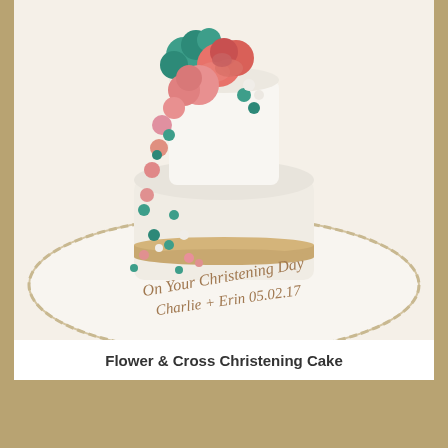[Figure (photo): A white christening cake decorated with coral/pink and teal sugar flowers, sitting on a scalloped white board. The board is inscribed in cursive script: 'On Your Christening Day Charlie + Erin 05.02.17']
Flower & Cross Christening Cake